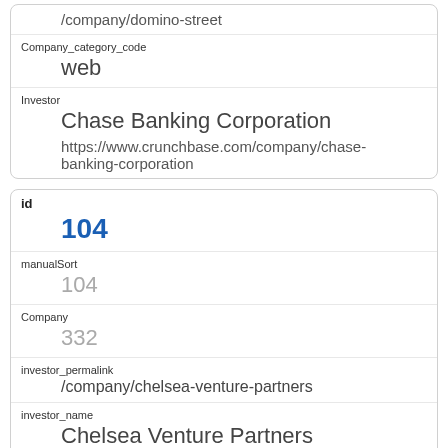/company/domino-street
Company_category_code
web
Investor
Chase Banking Corporation
https://www.crunchbase.com/company/chase-banking-corporation
id
104
manualSort
104
Company
332
investor_permalink
/company/chelsea-venture-partners
investor_name
Chelsea Venture Partners
investor_category_code